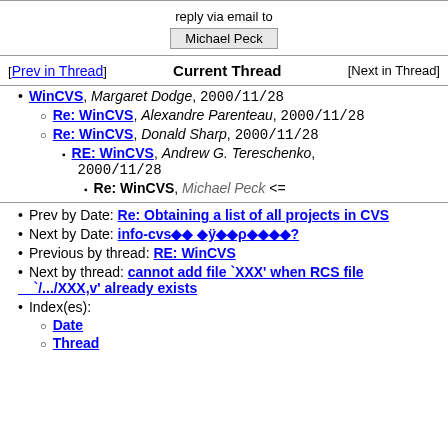reply via email to
Michael Peck
[Prev in Thread]   Current Thread   [Next in Thread]
WinCVS, Margaret Dodge, 2000/11/28
Re: WinCVS, Alexandre Parenteau, 2000/11/28
Re: WinCVS, Donald Sharp, 2000/11/28
RE: WinCVS, Andrew G. Tereschenko, 2000/11/28
Re: WinCVS, Michael Peck <=
Prev by Date: Re: Obtaining a list of all projects in CVS
Next by Date: info-cvs◆◆ ◆ÿ◆◆ρ◆◆◆◆?
Previous by thread: RE: WinCVS
Next by thread: cannot add file `XXX' when RCS file `/.../XXX,v' already exists
Index(es):
Date
Thread